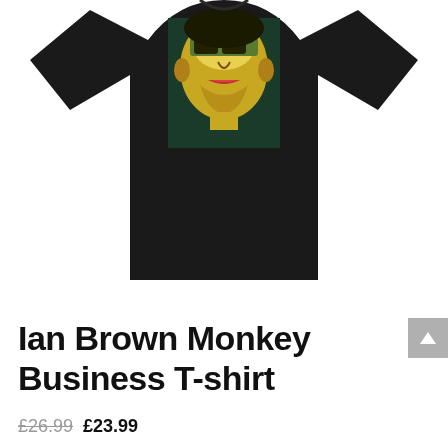[Figure (photo): A black t-shirt with an artistic pop-art style print of Ian Brown's face in yellow and green tones, with text 'IT'S WHERE YOU'RE AT' printed below the face graphic on the shirt.]
Ian Brown Monkey Business T-shirt
£26.99 £23.99